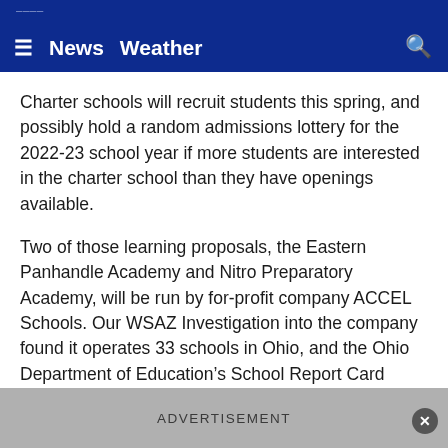≡  News  Weather  🔍
Charter schools will recruit students this spring, and possibly hold a random admissions lottery for the 2022-23 school year if more students are interested in the charter school than they have openings available.
Two of those learning proposals, the Eastern Panhandle Academy and Nitro Preparatory Academy, will be run by for-profit company ACCEL Schools. Our WSAZ Investigation into the company found it operates 33 schools in Ohio, and the Ohio Department of Education's School Report Card grades only three of those charter schools with a C, the rest received a D or F.
ADVERTISEMENT